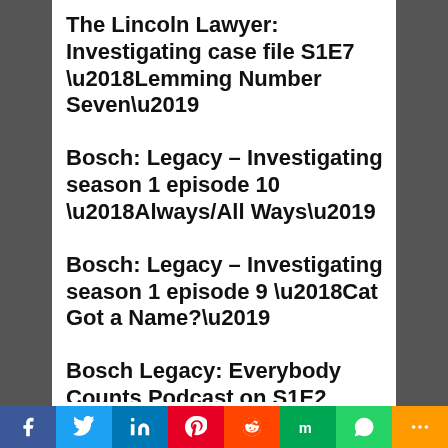The Lincoln Lawyer: Investigating case file S1E7 ‘Lemming Number Seven’
Bosch: Legacy – Investigating season 1 episode 10 ‘Always/All Ways’
Bosch: Legacy – Investigating season 1 episode 9 ‘Cat Got a Name?’
Bosch Legacy: Everybody Counts Podcast on S1E2 ‘Pumped’
The Lincoln Lawyer: Investigating case